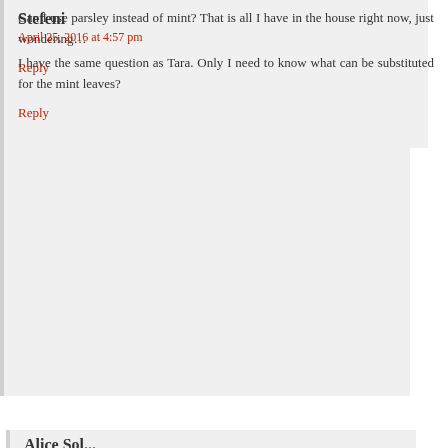Can I use parsley instead of mint? That is all I have in the house right now, just wondering…
Reply
Stefeni
April 25, 2016 at 4:57 pm
I have the same question as Tara. Only I need to know what can be substituted for the mint leaves?
Reply
Alice Sol...